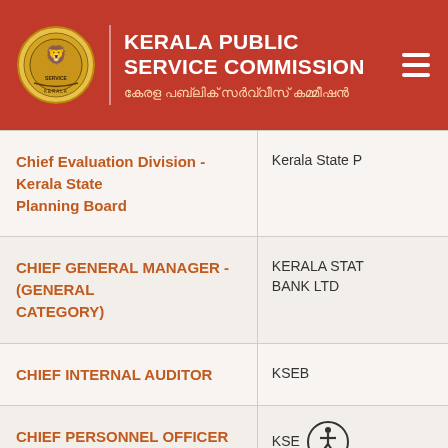KERALA PUBLIC SERVICE COMMISSION
കേരള പബ്ലിക് സർവ്വീസ് കമ്മീഷൻ
| Position | Department |
| --- | --- |
| Chief Evaluation Division - Kerala State Planning Board | Kerala State P... |
| CHIEF GENERAL MANAGER - (GENERAL CATEGORY) | KERALA STATE... BANK LTD |
| CHIEF INTERNAL AUDITOR | KSEB |
| CHIEF PERSONNEL OFFICER | KSE... |